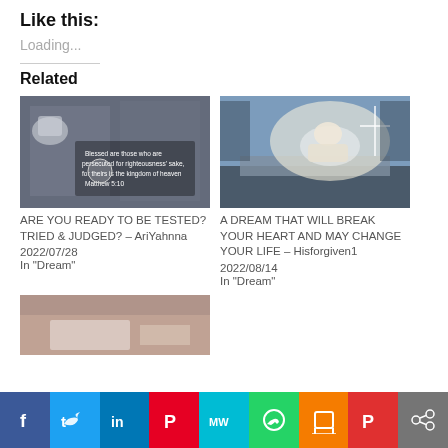Like this:
Loading...
Related
[Figure (photo): Dark room interior with text overlay about righteousness]
ARE YOU READY TO BE TESTED? TRIED & JUDGED? – AriYahnna
2022/07/28
In "Dream"
[Figure (photo): Person levitating above a bed in a glowing light]
A DREAM THAT WILL BREAK YOUR HEART AND MAY CHANGE YOUR LIFE – Hisforgiven1
2022/08/14
In "Dream"
[Figure (photo): Partial third related article image]
f  Twitter  in  Pinterest  MW  WhatsApp  Print  Parler  Share